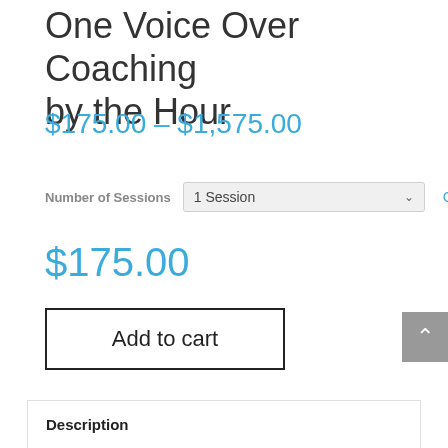One Voice Over Coaching by the Hour
$175.00 – $1,575.00
Number of Sessions  1 Session  Clear
$175.00
Add to cart
Description